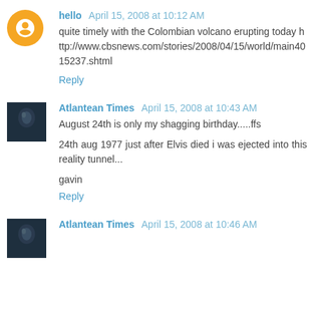hello  April 15, 2008 at 10:12 AM
quite timely with the Colombian volcano erupting today http://www.cbsnews.com/stories/2008/04/15/world/main4015237.shtml
Reply
Atlantean Times  April 15, 2008 at 10:43 AM
August 24th is only my shagging birthday.....ffs
24th aug 1977 just after Elvis died i was ejected into this reality tunnel...
gavin
Reply
Atlantean Times  April 15, 2008 at 10:46 AM